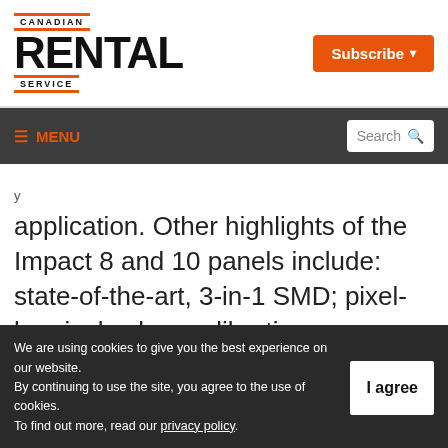Canadian Rental Service
Subscribe
MENU  Search
application. Other highlights of the Impact 8 and 10 panels include: state-of-the-art, 3-in-1 SMD; pixel-by-pixel colour calibration; extremely high resolution and vivid colour saturation;
We are using cookies to give you the best experience on our website.
By continuing to use the site, you agree to the use of cookies.
To find out more, read our privacy policy.